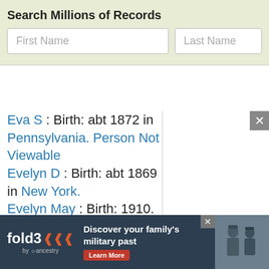Search Millions of Records
First Name
Last Name
Eva S : Birth: abt 1872 in Pennsylvania. Person Not Viewable Evelyn D : Birth: abt 1869 in New York. Evelyn May : Birth: 1910. Death: 2001 Florence : Birth: abt 1890. Person
[Figure (screenshot): Fold3 by Ancestry advertisement banner: 'Discover your family's military past' with Learn More button and historical military photo]